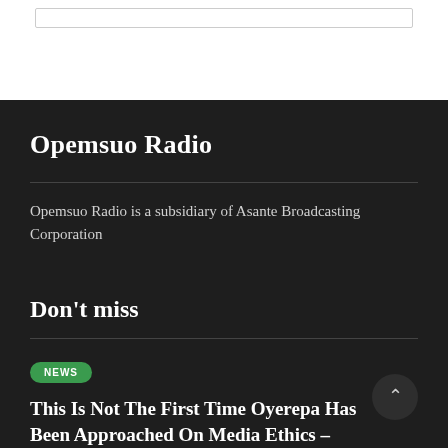Opemsuo Radio
Opemsuo Radio is a subsidiary of Asante Broadcasting Corporation
Don't miss
NEWS
This Is Not The First Time Oyerepa Has Been Approached On Media Ethics – NMC
August 29, 2022